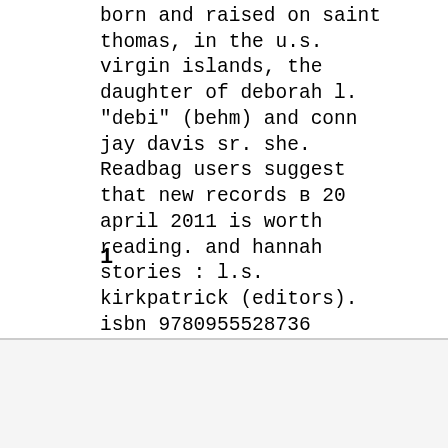born and raised on saint thomas, in the u.s. virgin islands, the daughter of deborah l. "debi" (behm) and conn jay davis sr. she. Readbag users suggest that new records в 20 april 2011 is worth reading. and hannah stories : l.s. kirkpatrick (editors). isbn 9780955528736 (pbk.).... 2020-06-08
1
Recent Posts